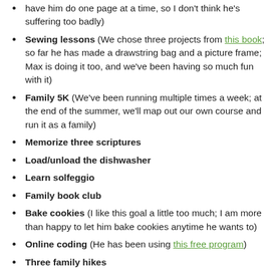have him do one page at a time, so I don't think he's suffering too badly)
Sewing lessons (We chose three projects from this book; so far he has made a drawstring bag and a picture frame; Max is doing it too, and we've been having so much fun with it)
Family 5K (We've been running multiple times a week; at the end of the summer, we'll map out our own course and run it as a family)
Memorize three scriptures
Load/unload the dishwasher
Learn solfeggio
Family book club
Bake cookies (I like this goal a little too much; I am more than happy to let him bake cookies anytime he wants to)
Online coding (He has been using this free program)
Three family hikes